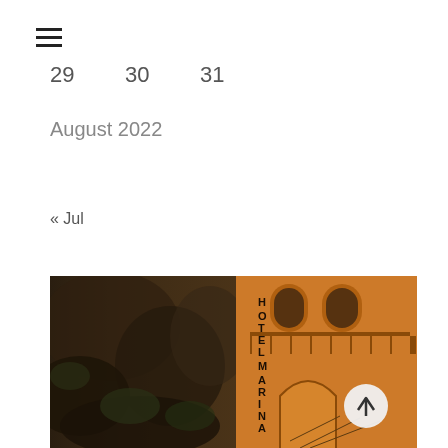[Figure (other): Hamburger menu icon (three horizontal lines)]
29   30   31
August 2022
« Jul
[Figure (photo): Split image: left side shows dark rocky cliffs with vegetation in sepia tones; right side shows Hotel Marina Riviera facade illuminated in warm golden light with arched architecture. A circular scroll-to-top button with an upward arrow is overlaid in the lower right area.]